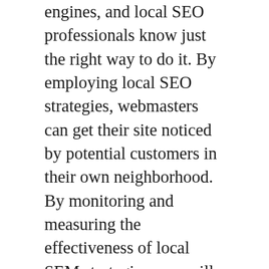engines, and local SEO professionals know just the right way to do it. By employing local SEO strategies, webmasters can get their site noticed by potential customers in their own neighborhood. By monitoring and measuring the effectiveness of local SEM strategies, you will know if it is time to expand your local advertising campaign.
Business owners who are new to the internet and website industry, in general, are highly advised to consider hiring a professional SEO company in Auckland. Even established businesses should consider investing in search engine optimization services to get the best results on the internet. When it comes to local search engine optimization in Auckland, there are several companies offering services. But before you decide on which company to hire, it would be useful to evaluate them to determine if they are suitable for your business.